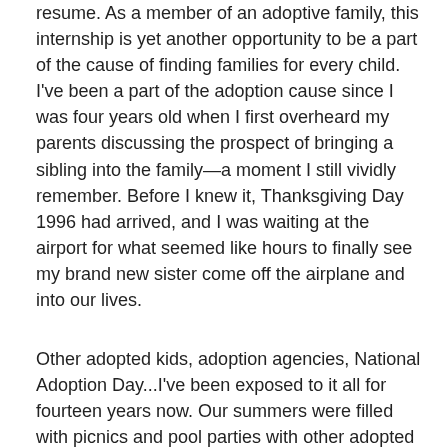resume. As a member of an adoptive family, this internship is yet another opportunity to be a part of the cause of finding families for every child. I've been a part of the adoption cause since I was four years old when I first overheard my parents discussing the prospect of bringing a sibling into the family—a moment I still vividly remember. Before I knew it, Thanksgiving Day 1996 had arrived, and I was waiting at the airport for what seemed like hours to finally see my brand new sister come off the airplane and into our lives.
Other adopted kids, adoption agencies, National Adoption Day...I've been exposed to it all for fourteen years now. Our summers were filled with picnics and pool parties with other adopted children from Russia, Vietnam, South Korea, and dozens of other countries. The highlight of my